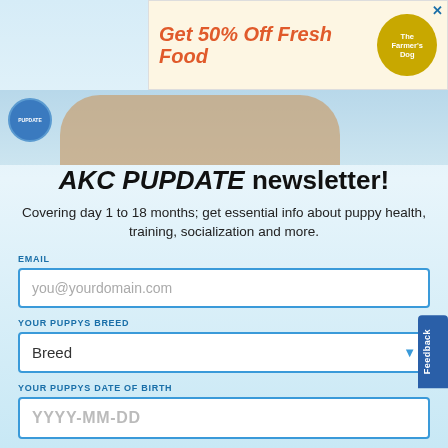[Figure (screenshot): Advertisement banner: 'Get 50% Off Fresh Food' with The Farmer's Dog logo and close button X]
[Figure (photo): Puppy dog photo strip showing a dog lying down with paws visible]
AKC PUPDATE newsletter!
Covering day 1 to 18 months; get essential info about puppy health, training, socialization and more.
EMAIL
you@yourdomain.com
YOUR PUPPYS BREED
Breed
YOUR PUPPYS DATE OF BIRTH
YYYY-MM-DD
SIGN UP
For all AKC Newsletters, click here
AKC Privacy Policy